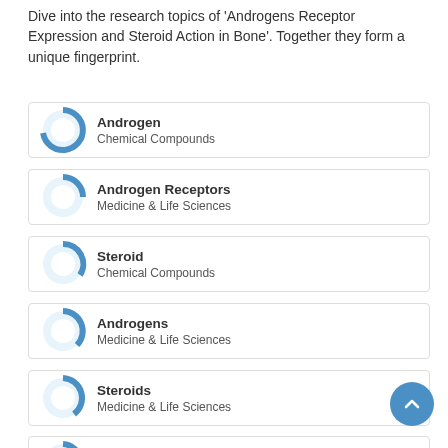Dive into the research topics of 'Androgens Receptor Expression and Steroid Action in Bone'. Together they form a unique fingerprint.
Androgen — Chemical Compounds
Androgen Receptors — Medicine & Life Sciences
Steroid — Chemical Compounds
Androgens — Medicine & Life Sciences
Steroids — Medicine & Life Sciences
Cancellous Bone